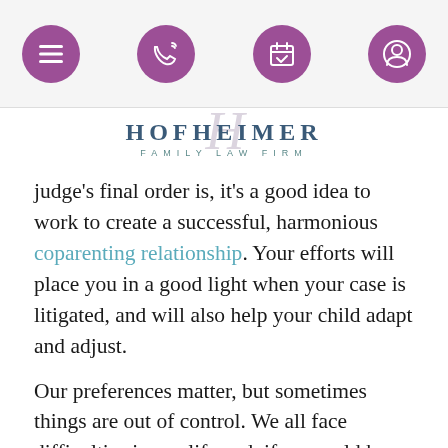[Figure (screenshot): Mobile website navigation bar with hamburger menu icon and three circular purple icons for phone, calendar, and profile on a light grey background]
[Figure (logo): Hofheimer Family Law Firm logo with stylized H script overlay in grey, HOFHEIMER in dark teal bold, FAMILY LAW FIRM in teal small caps]
judge's final order is, it's a good idea to work to create a successful, harmonious coparenting relationship. Your efforts will place you in a good light when your case is litigated, and will also help your child adapt and adjust.
Our preferences matter, but sometimes things are out of control. We all face difficulties in our life and, if we could have chosen, we probably would have skipped them. But life – and custody and visitation orde... that. Sometimes, we have to make lemo... parents, we have to help our children find the sunny sides, learn to deal with adversity, and, ultimately, grow up into happy, well-adjusted, productive human beings